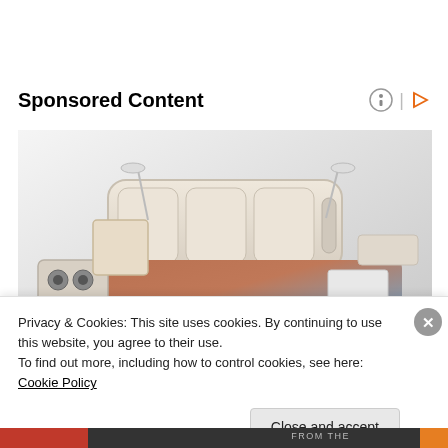Sponsored Content
[Figure (photo): A luxury multi-functional bed with built-in speakers, lighting, storage drawers, massage chair, and a laptop tray, photographed against a light gray background.]
Privacy & Cookies: This site uses cookies. By continuing to use this website, you agree to their use.
To find out more, including how to control cookies, see here: Cookie Policy
Close and accept
FROM THE